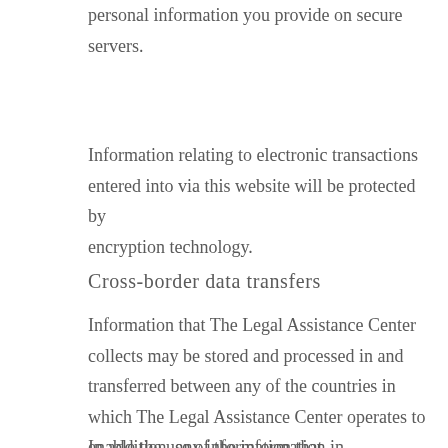personal information you provide on secure servers.
Information relating to electronic transactions entered into via this website will be protected by encryption technology.
Cross-border data transfers
Information that The Legal Assistance Center collects may be stored and processed in and transferred between any of the countries in which The Legal Assistance Center operates to enable the use of the information in accordance with this privacy policy.
In addition, any information that...